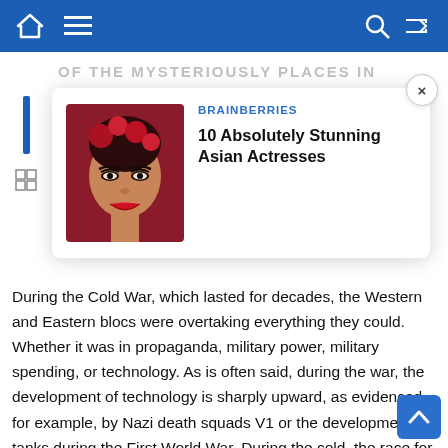Navigation bar with home, menu, search, shuffle icons
OF THE MYSTERIOUSLY PLACES IN
[Figure (screenshot): Advertisement card from Brainberries titled '10 Absolutely Stunning Asian Actresses' with a photo of a woman with red roses in her hair]
During the Cold War, which lasted for decades, the Western and Eastern blocs were overtaking everything they could. Whether it was in propaganda, military power, military spending, or technology. As is often said, during the war, the development of technology is sharply upward, as evidenced, for example, by Nazi death squads V1 or the development of tanks during the First World War. During the cold, the race for the extraction of the universe began, thanks to which the technology went up again sharply. As we know, the first man in the universe was Yuri Gagarin of the USSR and the first visitor to the surface of the Moon, Neil Armstrong. New spaces in space bring with them new mysteries.